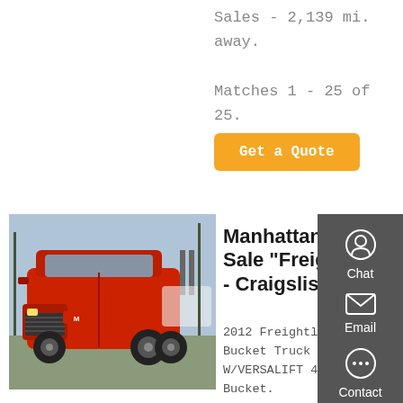Sales - 2,139 mi. away.
Matches 1 - 25 of 25.
Premium.
[Figure (other): Orange 'Get a Quote' button]
[Figure (photo): Red semi truck / Freightliner cab tractor parked outdoors]
Manhattan For Sale "Freightliner" - Craigslist
2012 Freightliner M2 Bucket Truck 8.3L W/VERSALIFT 42ft Bucket. $65,950 (wic > **Equipment Handler & Hydraulic
[Figure (infographic): Dark grey sidebar with Chat, Email, Contact, and Top icons]